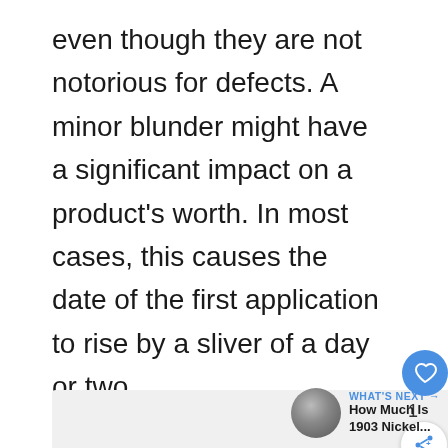even though they are not notorious for defects. A minor blunder might have a significant impact on a product's worth. In most cases, this causes the date of the first application to rise by a sliver of a day or two.
[Figure (other): UI elements: heart/like button (blue circle with heart icon), count '1', share button (white circle with share icon), and a 'WHAT'S NEXT' panel showing a coin image and text 'How Much Is 1903 Nickel...']